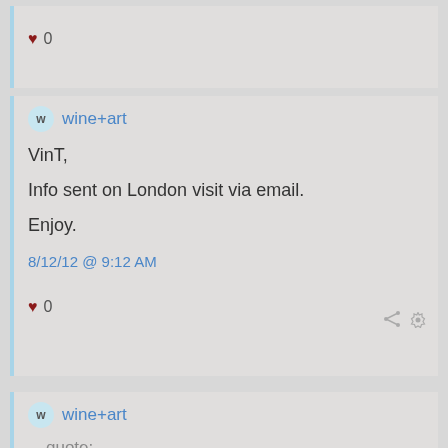♥ 0
wine+art
VinT,

Info sent on London visit via email.

Enjoy.

8/12/12 @ 9:12 AM
♥ 0
wine+art
quote: